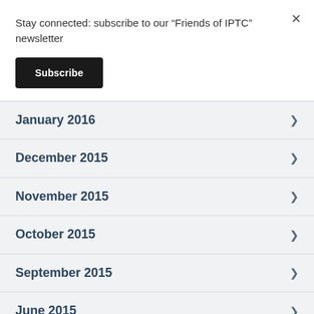Stay connected: subscribe to our “Friends of IPTC” newsletter
Subscribe
January 2016
December 2015
November 2015
October 2015
September 2015
June 2015